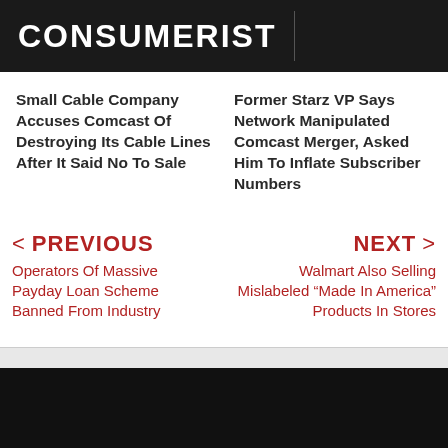CONSUMERIST
Small Cable Company Accuses Comcast Of Destroying Its Cable Lines After It Said No To Sale
Former Starz VP Says Network Manipulated Comcast Merger, Asked Him To Inflate Subscriber Numbers
< PREVIOUS
Operators Of Massive Payday Loan Scheme Banned From Industry
NEXT >
Walmart Also Selling Mislabeled “Made In America” Products In Stores